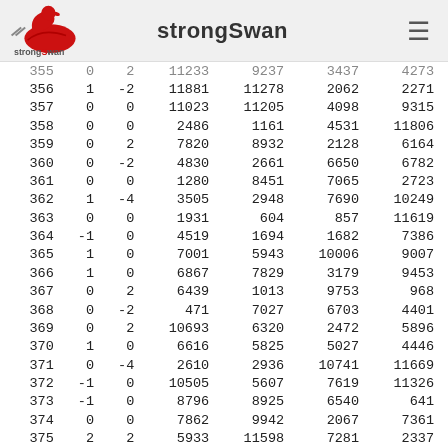strongSwan
| 355 | 0 | 2 | 11233 | 9237 | 3437 | 4273 |
| 356 | 1 | -2 | 11881 | 11278 | 2062 | 2271 |
| 357 | 0 | 0 | 11023 | 11205 | 4098 | 9315 |
| 358 | 0 | 0 | 2486 | 1161 | 4531 | 11806 |
| 359 | 0 | 2 | 7820 | 8932 | 2128 | 6164 |
| 360 | 0 | -2 | 4830 | 2661 | 6650 | 6782 |
| 361 | 0 | 0 | 1280 | 8451 | 7065 | 2723 |
| 362 | 1 | -4 | 3505 | 2948 | 7690 | 10249 |
| 363 | 0 | 0 | 1931 | 604 | 857 | 11619 |
| 364 | -1 | 0 | 4519 | 1694 | 1682 | 7386 |
| 365 | 1 | 0 | 7001 | 5943 | 10006 | 9007 |
| 366 | 1 | 0 | 6867 | 7829 | 3179 | 9453 |
| 367 | 0 | 2 | 6439 | 1013 | 9753 | 968 |
| 368 | 0 | -2 | 471 | 7027 | 6703 | 4401 |
| 369 | 0 | 2 | 10693 | 6320 | 2472 | 5896 |
| 370 | 1 | 0 | 6616 | 5825 | 5027 | 4446 |
| 371 | 0 | -4 | 2610 | 2936 | 10741 | 11669 |
| 372 | -1 | 0 | 10505 | 5607 | 7619 | 11326 |
| 373 | -1 | 0 | 8796 | 8925 | 6540 | 641 |
| 374 | 0 | 0 | 7862 | 9942 | 2067 | 7361 |
| 375 | 2 | 2 | 5933 | 11598 | 7281 | 2337 |